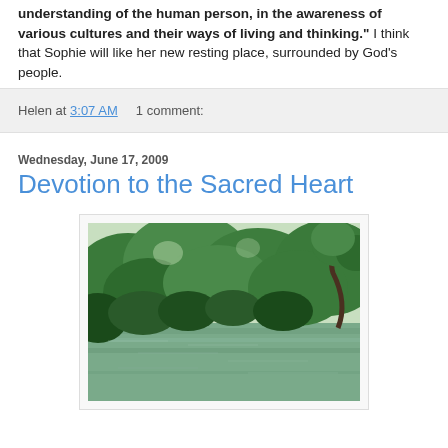understanding of the human person, in the awareness of various cultures and their ways of living and thinking." I think that Sophie will like her new resting place, surrounded by God's people.
Helen at 3:07 AM    1 comment:
Wednesday, June 17, 2009
Devotion to the Sacred Heart
[Figure (photo): A peaceful nature scene showing a calm river or pond with lush green trees and overhanging branches reflected in the water.]